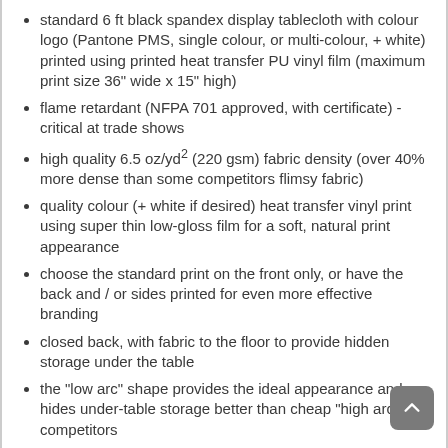standard 6 ft black spandex display tablecloth with colour logo (Pantone PMS, single colour, or multi-colour, + white) printed using printed heat transfer PU vinyl film (maximum print size 36" wide x 15" high)
flame retardant (NFPA 701 approved, with certificate) - critical at trade shows
high quality 6.5 oz/yd² (220 gsm) fabric density (over 40% more dense than some competitors flimsy fabric)
quality colour (+ white if desired) heat transfer vinyl print using super thin low-gloss film for a soft, natural print appearance
choose the standard print on the front only, or have the back and / or sides printed for even more effective branding
closed back, with fabric to the floor to provide hidden storage under the table
the "low arc" shape provides the ideal appearance and hides under-table storage better than cheap "high arc" competitors
foot pockets have reinforced webbing material for extra strength and durability